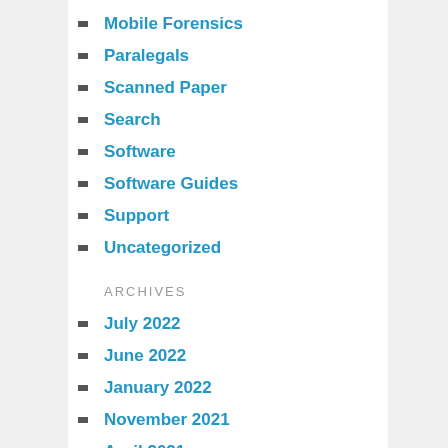Mobile Forensics
Paralegals
Scanned Paper
Search
Software
Software Guides
Support
Uncategorized
ARCHIVES
July 2022
June 2022
January 2022
November 2021
April 2021
March 2021
December 2020
November 2020
September 2020
July 2020
June 2020